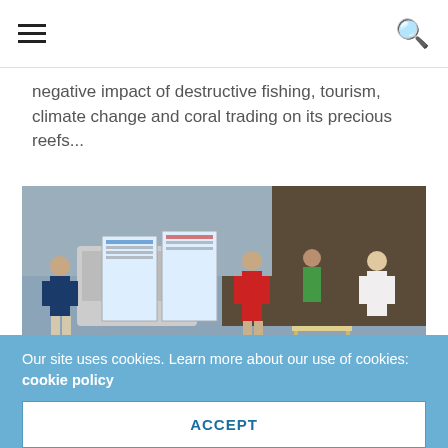negative impact of destructive fishing, tourism, climate change and coral trading on its precious reefs...
[Figure (photo): Outdoor community gathering on a beach where children sit on the ground facing presenters standing next to a vehicle with large educational posters displayed on it. Several adults stand and address the group.]
Our site uses cookies. Learn more about our use of cookies: cookie policy
ACCEPT